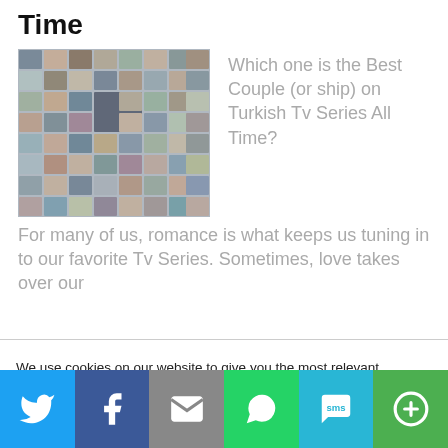Time
[Figure (photo): A collage of many small photos of couples from Turkish TV series]
Which one is the Best Couple (or ship) on Turkish Tv Series All Time? For many of us, romance is what keeps us tuning in to our favorite Tv Series. Sometimes, love takes over our
We use cookies on our website to give you the most relevant experience by remembering your preferences and repeat visits. By clicking "Accept All", you consent to the use of ALL the cookies. However, you may visit "Cookie Settings" to provide a controlled consent.